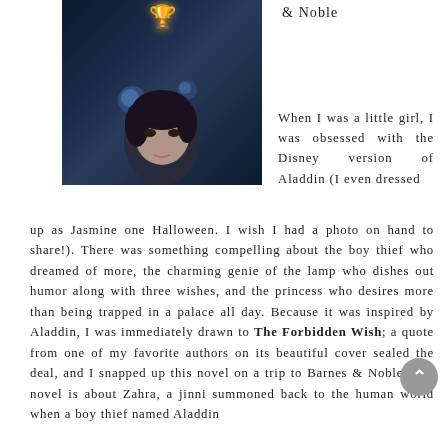[Figure (photo): Book cover for The Forbidden Wish showing a person's face looking upward against a dark blue background with a golden goblet and mystical orbs above]
& Noble
When I was a little girl, I was obsessed with the Disney version of Aladdin (I even dressed up as Jasmine one Halloween. I wish I had a photo on hand to share!). There was something compelling about the boy thief who dreamed of more, the charming genie of the lamp who dishes out humor along with three wishes, and the princess who desires more than being trapped in a palace all day. Because it was inspired by Aladdin, I was immediately drawn to The Forbidden Wish; a quote from one of my favorite authors on its beautiful cover sealed the deal, and I snapped up this novel on a trip to Barnes & Noble. The novel is about Zahra, a jinni summoned back to the human world when a boy thief named Aladdin